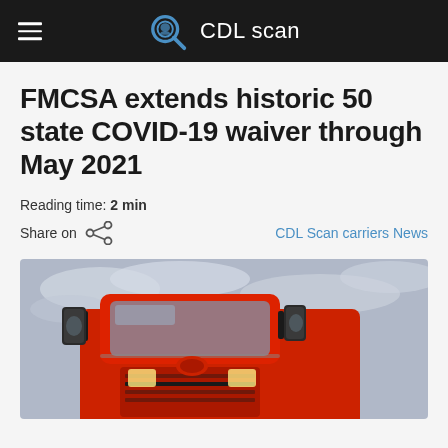CDL scan
FMCSA extends historic 50 state COVID-19 waiver through May 2021
Reading time: 2 min
Share on   CDL Scan carriers News
[Figure (photo): Red semi-truck cab photographed from low angle against overcast sky, showing mirror and chrome details]